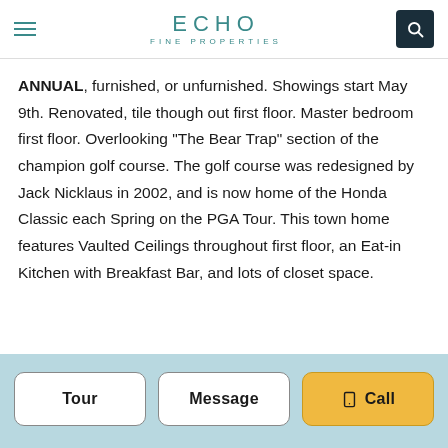ECHO FINE PROPERTIES
ANNUAL, furnished, or unfurnished. Showings start May 9th. Renovated, tile though out first floor. Master bedroom first floor. Overlooking "The Bear Trap" section of the champion golf course. The golf course was redesigned by Jack Nicklaus in 2002, and is now home of the Honda Classic each Spring on the PGA Tour. This town home features Vaulted Ceilings throughout first floor, an Eat-in Kitchen with Breakfast Bar, and lots of closet space.
Tour | Message | Call